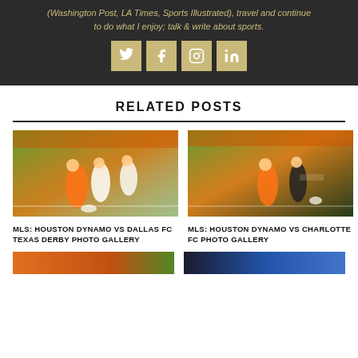(Washington Post, LA Times, Sports Illustrated), travel and continue to do what I enjoy; talk & write about sports.
[Figure (other): Four social media icon buttons (Twitter, Facebook, Instagram, LinkedIn) in gold/tan color on dark background]
RELATED POSTS
[Figure (photo): Soccer match photo: Houston Dynamo players in orange uniforms playing against Dallas FC on grass field with crowd in background]
MLS: HOUSTON DYNAMO VS DALLAS FC TEXAS DERBY PHOTO GALLERY
[Figure (photo): Soccer match photo: Houston Dynamo player in orange uniform competing against Charlotte FC player in black uniform]
MLS: HOUSTON DYNAMO VS CHARLOTTE FC PHOTO GALLERY
[Figure (photo): Bottom partial soccer action photo (left), partially visible]
[Figure (photo): Bottom partial soccer action photo (right), partially visible]